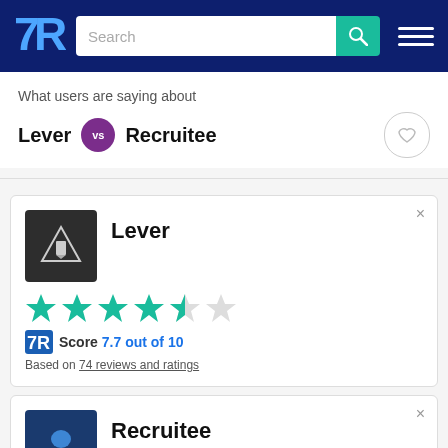[Figure (screenshot): TrustRadius website navigation bar with logo, search field, and hamburger menu]
What users are saying about
Lever vs Recruitee
Lever — Score 7.7 out of 10 — Based on 74 reviews and ratings
Recruitee